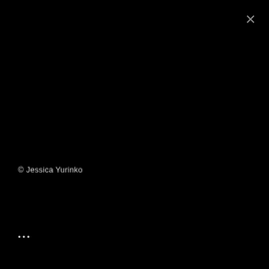[Figure (photo): Mostly black image, appears to be a very dark photograph with minimal visible detail.]
×
© Jessica Yurinko
…